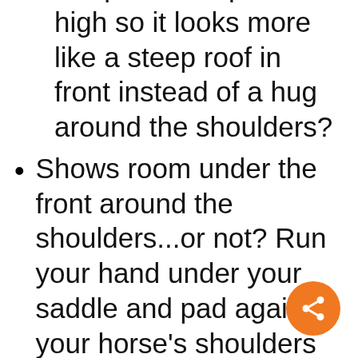is it perched up too high so it looks more like a steep roof in front instead of a hug around the shoulders?
Shows room under the front around the shoulders...or not? Run your hand under your saddle and pad against your horse's shoulders up at the level of the tree. Do you feel tight pressure.? (This determination should be finally assessed when saddle is tacked up with pad and appropriate shim and girthed ready to ride).
Look unbalanced? Is the lowest